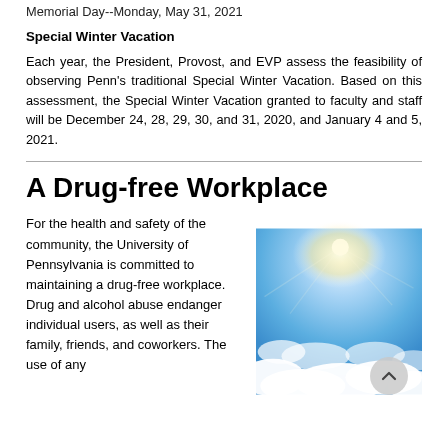Memorial Day--Monday, May 31, 2021
Special Winter Vacation
Each year, the President, Provost, and EVP assess the feasibility of observing Penn’s traditional Special Winter Vacation. Based on this assessment, the Special Winter Vacation granted to faculty and staff will be December 24, 28, 29, 30, and 31, 2020, and January 4 and 5, 2021.
A Drug-free Workplace
For the health and safety of the community, the University of Pennsylvania is committed to maintaining a drug-free workplace. Drug and alcohol abuse endanger individual users, as well as their family, friends, and coworkers. The use of any
[Figure (photo): A blue sky with bright white clouds and a light burst from the sun in the upper portion of the image.]